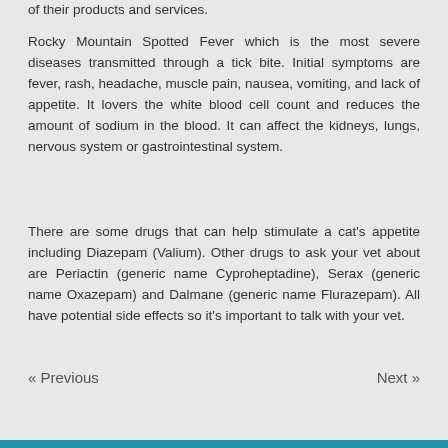of their products and services.
Rocky Mountain Spotted Fever which is the most severe diseases transmitted through a tick bite. Initial symptoms are fever, rash, headache, muscle pain, nausea, vomiting, and lack of appetite. It lovers the white blood cell count and reduces the amount of sodium in the blood. It can affect the kidneys, lungs, nervous system or gastrointestinal system.
There are some drugs that can help stimulate a cat’s appetite including Diazepam (Valium). Other drugs to ask your vet about are Periactin (generic name Cyproheptadine), Serax (generic name Oxazepam) and Dalmane (generic name Flurazepam). All have potential side effects so it’s important to talk with your vet.
« Previous
Next »